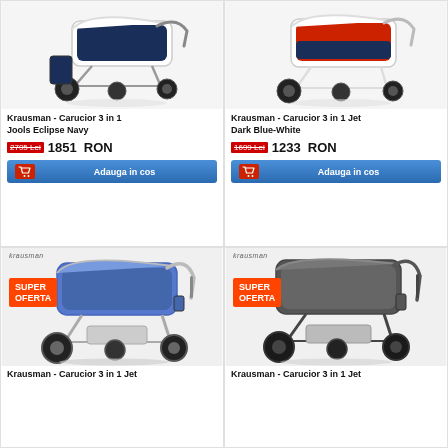[Figure (photo): Krausman stroller 3 in 1 Jools Eclipse Navy - white frame with navy blue seat]
Krausman - Carucior 3 in 1 Jools Eclipse Navy
2795 Lei  1851  RON
Adauga in cos
[Figure (photo): Krausman stroller 3 in 1 Jet Dark Blue-White - white frame with red/dark blue seat]
Krausman - Carucior 3 in 1 Jet Dark Blue-White
1699 Lei  1233  RON
Adauga in cos
[Figure (photo): Krausman stroller 3 in 1 Jet - blue/denim color with silver frame, SUPER OFERTA badge]
Krausman - Carucior 3 in 1 Jet
[Figure (photo): Krausman stroller 3 in 1 Jet - dark grey/anthracite, SUPER OFERTA badge]
Krausman - Carucior 3 in 1 Jet